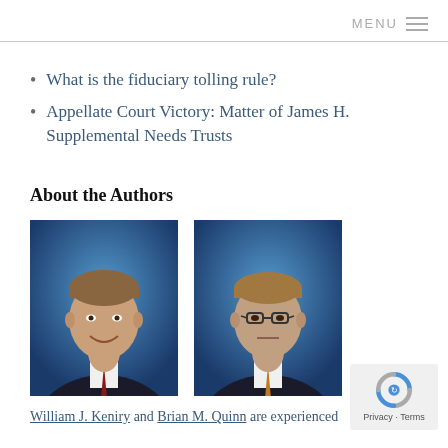MENU
What is the fiduciary tolling rule?
Appellate Court Victory: Matter of James H. Supplemental Needs Trusts
About the Authors
[Figure (photo): Headshot photo of William J. Keniry in a suit against a blue background]
[Figure (photo): Headshot photo of Brian M. Quinn wearing glasses, in a suit against a blue background]
William J. Keniry and Brian M. Quinn are experienced